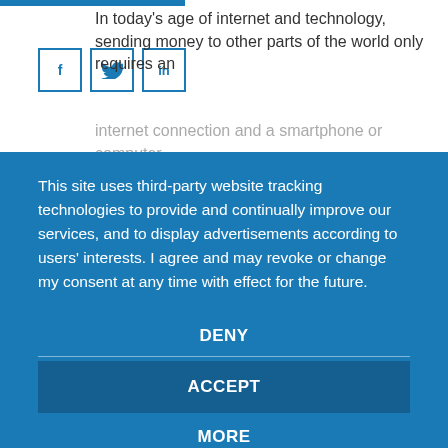In today's age of internet and technology, sending money to other parts of the world only requires an internet connection and a smartphone or computer.
[Figure (other): Three social media share buttons: Facebook (f), Twitter (bird icon), LinkedIn (in)]
This site uses third-party website tracking technologies to provide and continually improve our services, and to display advertisements according to users' interests. I agree and may revoke or change my consent at any time with effect for the future.
DENY
ACCEPT
MORE
Powered by usercentrics & eRecht24